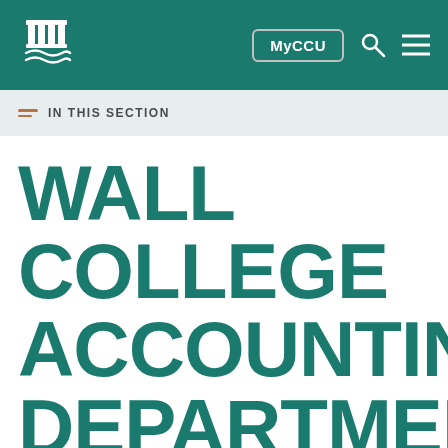CCU — MyCCU navigation header
IN THIS SECTION
WALL COLLEGE ACCOUNTING DEPARTMENT NAMED AFTER